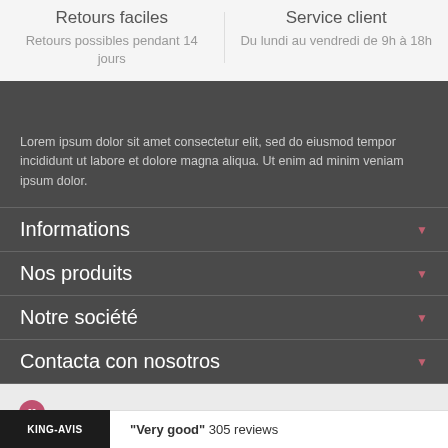Retours faciles
Retours possibles pendant 14 jours
Service client
Du lundi au vendredi de 9h à 18h
Lorem ipsum dolor sit amet consectetur elit, sed do eiusmod tempor incididunt ut labore et dolore magna aliqua. Ut enim ad minim veniam ipsum dolor.
Informations
Nos produits
Notre société
Contacta con nosotros
KING-AVIS   "Very good" 305 reviews